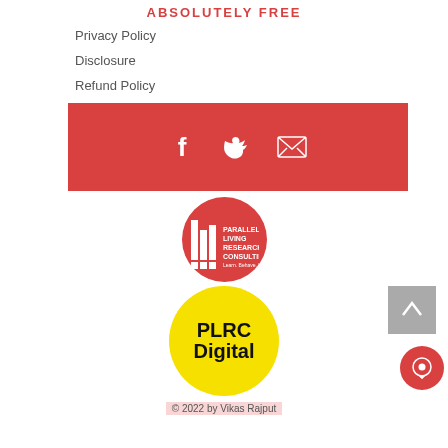ABSOLUTELY FREE
Privacy Policy
Disclosure
Refund Policy
[Figure (other): Red banner with social media icons: Facebook, Twitter, Email]
[Figure (logo): Parallel Living Research & Consulting logo - red circle with white bar chart icon and text]
[Figure (logo): PLRC Digital logo - yellow circle with black bold text]
© 2022 by Vikas Rajput